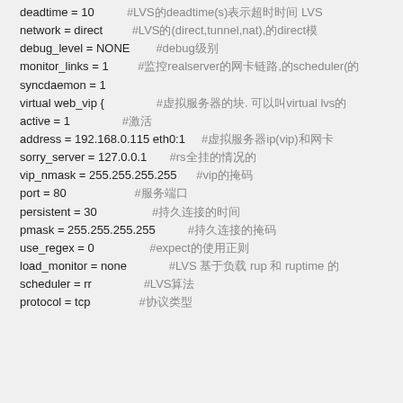deadtime = 10   #LVS的deadtime(s)表示超时时间 LVS
network = direct   #LVS的(direct,tunnel,nat),的direct模
debug_level = NONE   #debug级别
monitor_links = 1   #监控realserver的网卡链路,的scheduler(的
syncdaemon = 1
virtual web_vip {   #虚拟服务器的块. 可以叫virtual lvs的
active = 1   #激活
address = 192.168.0.115 eth0:1   #虚拟服务器ip(vip)和网卡
sorry_server = 127.0.0.1   #rs全挂的情况的
vip_nmask = 255.255.255.255   #vip的掩码
port = 80   #服务端口
persistent = 30   #持久连接的时间
pmask = 255.255.255.255   #持久连接的掩码
use_regex = 0   #expect的使用正则
load_monitor = none   #LVS 基于负载 rup 和 ruptime 的
scheduler = rr   #LVS算法
protocol = tcp   #协议类型